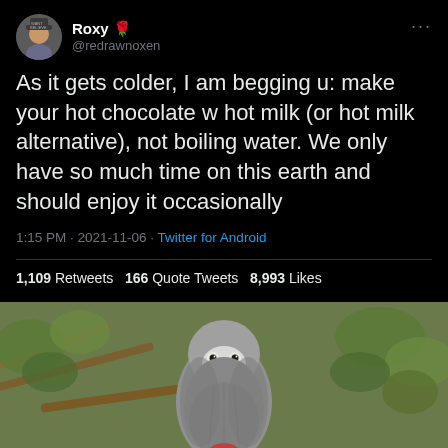[Figure (screenshot): Tweet by Roxy (@redrawnoxen) with avatar, username, handle, tweet text, timestamp, and engagement stats on black background]
Roxy 🌹 @redrawnoxen
As it gets colder, I am begging u: make your hot chocolate w hot milk (or hot milk alternative), not boiling water. We only have so much time on this earth and should enjoy it occasionally
1:15 PM · 2021-11-06 · Twitter for Android
1,109 Retweets 166 Quote Tweets 8,993 Likes
[Figure (photo): A grey African Grey parrot perched on a branch, photographed against a blurred green foliage background]
LINCOLNSHIRE WILDLIFE PARK